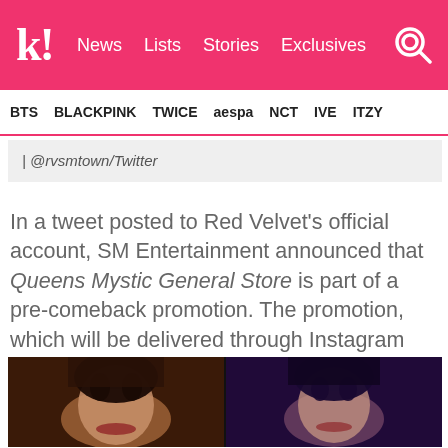k! News  Lists  Stories  Exclusives
BTS  BLACKPINK  TWICE  aespa  NCT  IVE  ITZY
| @rvsmtown/Twitter
In a tweet posted to Red Velvet's official account, SM Entertainment announced that Queens Mystic General Store is part of a pre-comeback promotion. The promotion, which will be delivered through Instagram and YouTube until August 1, centers on the “Queens Archive.”
[Figure (photo): Two side-by-side stills of Red Velvet members, one with dark hair against a warm-toned background, another with dark hair against a purple-toned background.]